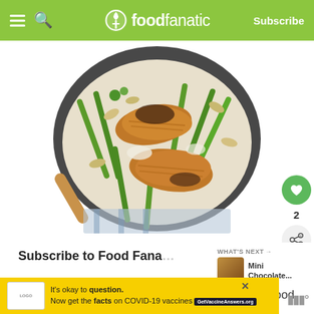Food Fanatic — Subscribe
[Figure (photo): Top-down photo of a bowl of pasta with sliced grilled chicken breast and asparagus in a creamy sauce, with a wooden spoon visible.]
Subscribe to Food Fana…
Get updates on the latest posts and more from Food
[Figure (other): WHAT'S NEXT → Mini Chocolate... advertisement thumbnail]
[Figure (other): Ad: It's okay to question. Now get the facts on COVID-19 vaccines. GetVaccineAnswers.org]